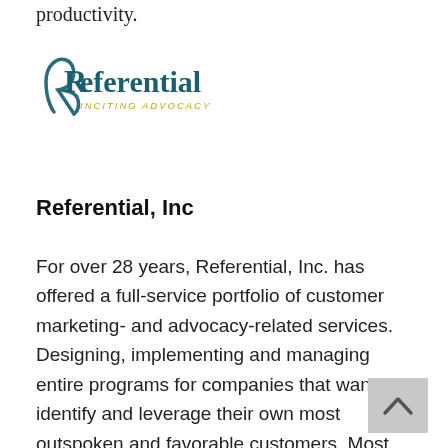productivity.
[Figure (logo): Referential Inc. logo — stylized R with teal/dark teal 'Referential' text and gold 'INCITING ADVOCACY' tagline underneath]
Referential, Inc
For over 28 years, Referential, Inc. has offered a full-service portfolio of customer marketing- and advocacy-related services. Designing, implementing and managing entire programs for companies that want to identify and leverage their own most outspoken and favorable customers. Most recently Referential now offers training courses to support the three levels of accreditation from the Institute of Certified